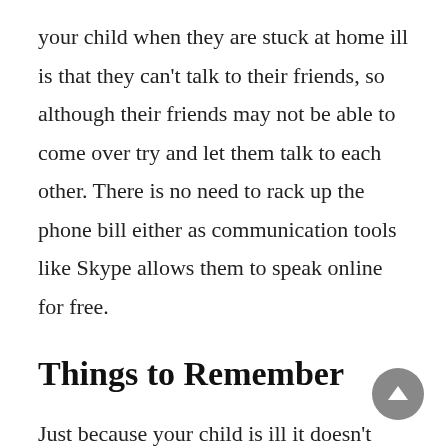your child when they are stuck at home ill is that they can't talk to their friends, so although their friends may not be able to come over try and let them talk to each other. There is no need to rack up the phone bill either as communication tools like Skype allows them to speak online for free.
Things to Remember
Just because your child is ill it doesn't mean that they will be content to spend the day in bed, and just because they are up and around it doesn't mean that they are going to enter into any activity willingly, they will probably moan and gripe about whatever you suggest as they will